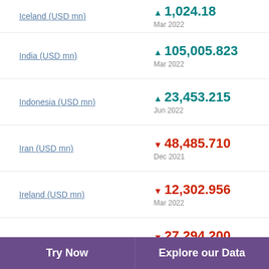Iceland (USD mn) ▲ 1,024.18 Mar 2022
India (USD mn) ▲ 105,005.823 Mar 2022
Indonesia (USD mn) ▲ 23,453.215 Jun 2022
Iran (USD mn) ▼ 48,485.710 Dec 2021
Ireland (USD mn) ▼ 12,302.956 Mar 2022
Israel (USD mn) ▼ 27,294.200 Mar 2022
Try Now   Explore our Data